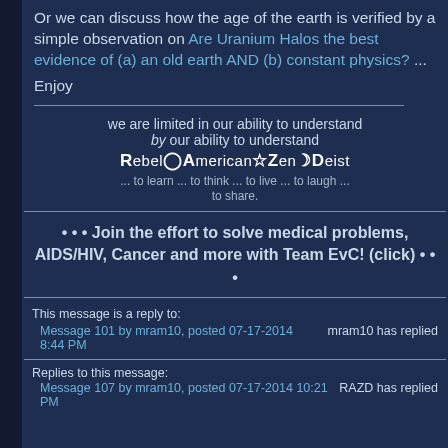Or we can discuss how the age of the earth is verified by a simple observation on Are Uranium Halos the best evidence of (a) an old earth AND (b) constant physics? ...
Enjoy
we are limited in our ability to understand by our ability to understand
RebelⓅAmericanZenDeist
... to learn ... to think ... to live ... to laugh ...
to share.
• • • Join the effort to solve medical problems, AIDS/HIV, Cancer and more with Team EvC! (click) • • •
This message is a reply to:
Message 101 by mram10, posted 07-17-2014 8:44 PM
mram10 has replied
Replies to this message:
Message 107 by mram10, posted 07-17-2014 10:21 PM
RAZD has replied